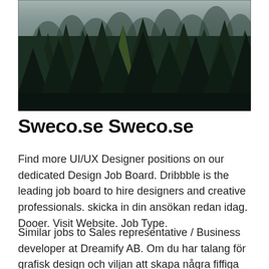[Figure (photo): Aerial view of a dense dark evergreen forest with foggy misty atmosphere, dark green pine trees covering hillside, moody overcast sky]
Sweco.se Sweco.se
Find more UI/UX Designer positions on our dedicated Design Job Board. Dribbble is the leading job board to hire designers and creative professionals. skicka in din ansökan redan idag. Dooer. Visit Website. Job Type.
Similar jobs to Sales representative / Business developer at Dreamify AB. Om du har talang för grafisk design och viljan att skapa några fiffiga bitar av kommersiell konst då kan du förmodligen göra ett anständigt liv går frilansande. KPIs Master